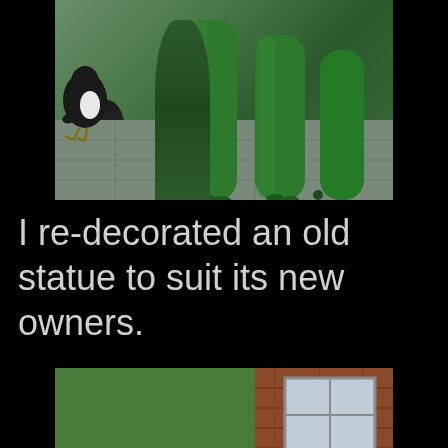[Figure (photo): Close-up photo showing the legs of a green elephant statue on a paved surface, with a black and white bird (magpie) visible to the left]
I re-decorated an old statue to suit its new owners.
[Figure (photo): Photo of a colorful elephant statue decorated with jungle/tropical artwork featuring green leaves, a leopard, and floral patterns, standing in a garden setting with brick wall and window in background]